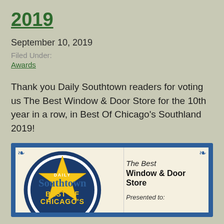2019
September 10, 2019
Filed Under:
Awards
Thank you Daily Southtown readers for voting us The Best Window & Door Store for the 10th year in a row, in Best Of Chicago's Southland 2019!
[Figure (photo): Daily Southtown Best of Chicago's Southland 2019 award certificate showing logo with star and text 'The Best Window & Door Store', 'Presented to:']